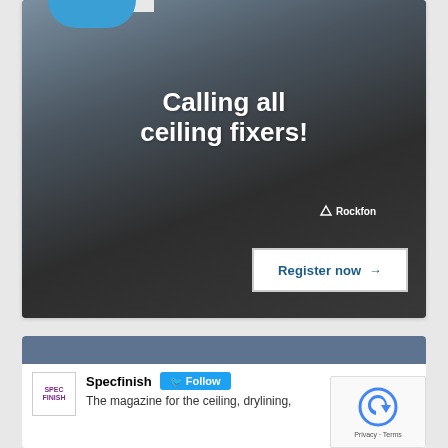[Figure (photo): Advertisement showing a man wearing a blue beanie hat and Rockfon branded dark hoodie, smiling outdoors. Text overlay reads 'Calling all ceiling fixers!' with a 'Register now →' button.]
Calling all ceiling fixers!
Register now →
[Figure (screenshot): Twitter/social media widget showing Specfinish account with logo, Follow button, and description text: The magazine for the ceiling, drylining,]
Specfinish
The magazine for the ceiling, drylining,